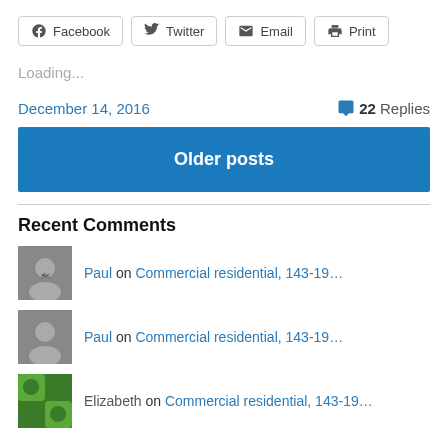Facebook | Twitter | Email | Print
Loading...
December 14, 2016    💬 22 Replies
Older posts
Recent Comments
Paul on Commercial residential, 143-19…
Paul on Commercial residential, 143-19…
Elizabeth on Commercial residential, 143-19…